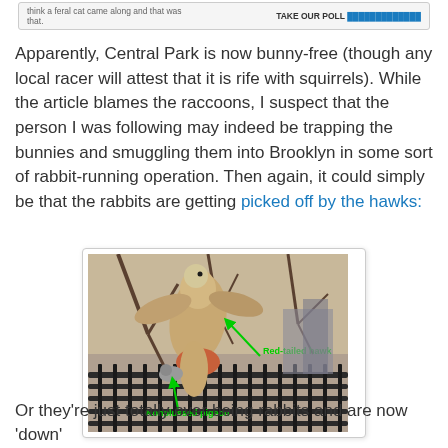think a feral cat came along and that was that.   TAKE OUR POLL
Apparently, Central Park is now bunny-free (though any local racer will attest that it is rife with squirrels). While the article blames the raccoons, I suspect that the person I was following may indeed be trapping the bunnies and smuggling them into Brooklyn in some sort of rabbit-running operation. Then again, it could simply be that the rabbits are getting picked off by the hawks:
[Figure (photo): A red-tailed hawk with prey hanging upside down from a fence/railing with tree branches in the background. Green text labels point to 'Red-tailed hawk' and 'Nonplussed pigeon'.]
Or they're just totally over being rabbits and are now 'down'